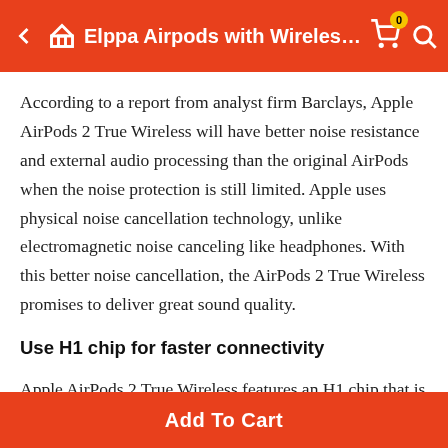Elppa Airpods with Wireless Ch...
According to a report from analyst firm Barclays, Apple AirPods 2 True Wireless will have better noise resistance and external audio processing than the original AirPods when the noise protection is still limited. Apple uses physical noise cancellation technology, unlike electromagnetic noise canceling like headphones. With this better noise cancellation, the AirPods 2 True Wireless promises to deliver great sound quality.
Use H1 chip for faster connectivity
Apple AirPods 2 True Wireless features an H1 chip that is expected to make the connection more stable, smoother than its predecessor, giving users a better experience. In
Add To Cart